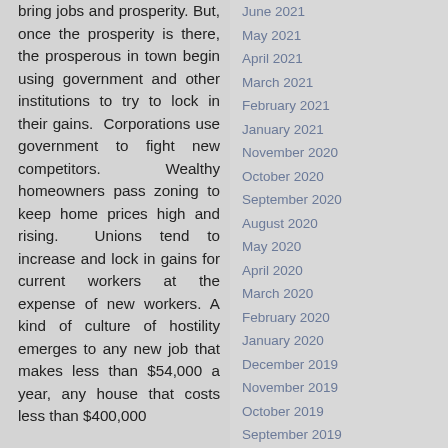bring jobs and prosperity. But, once the prosperity is there, the prosperous in town begin using government and other institutions to try to lock in their gains. Corporations use government to fight new competitors. Wealthy homeowners pass zoning to keep home prices high and rising. Unions tend to increase and lock in gains for current workers at the expense of new workers. A kind of culture of hostility emerges to any new job that makes less than $54,000 a year, any house that costs less than $400,000, ...
June 2021
May 2021
April 2021
March 2021
February 2021
January 2021
November 2020
October 2020
September 2020
August 2020
May 2020
April 2020
March 2020
February 2020
January 2020
December 2019
November 2019
October 2019
September 2019
August 2019
July 2019